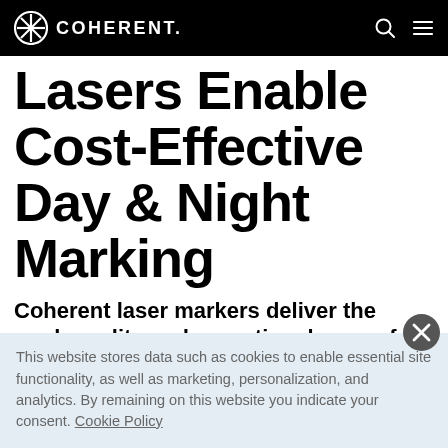COHERENT.
Lasers Enable Cost-Effective Day & Night Marking
Coherent laser markers deliver the mark quality and operational ease-of-use for both short-run and high-
This website stores data such as cookies to enable essential site functionality, as well as marketing, personalization, and analytics. By remaining on this website you indicate your consent. Cookie Policy